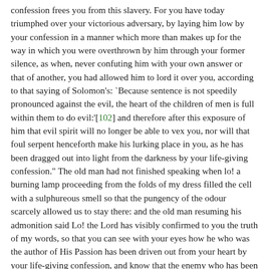confession frees you from this slavery. For you have today triumphed over your victorious adversary, by laying him low by your confession in a manner which more than makes up for the way in which you were overthrown by him through your former silence, as when, never confuting him with your own answer or that of another, you had allowed him to lord it over you, according to that saying of Solomon's: `Because sentence is not speedily pronounced against the evil, the heart of the children of men is full within them to do evil:'[102] and therefore after this exposure of him that evil spirit will no longer be able to vex you, nor will that foul serpent henceforth make his lurking place in you, as he has been dragged out into light from the darkness by your life-giving confession." The old man had not finished speaking when lo! a burning lamp proceeding from the folds of my dress filled the cell with a sulphureous smell so that the pungency of the odour scarcely allowed us to stay there: and the old man resuming his admonition said Lo! the Lord has visibly confirmed to you the truth of my words, so that you can see with your eyes how he who was the author of His Passion has been driven out from your heart by your life-giving confession, and know that the enemy who has been exposed will certainly no longer find a home in you, as his expulsion is made manifest. And so, as the old man declared, said he, the sway of that diabolical tyranny over me has been destroyed by the power of this confession and stilled for ever so that the enemy has never even tried to force upon me any more the